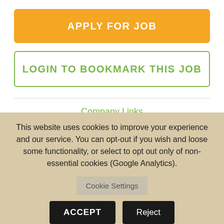APPLY FOR JOB
LOGIN TO BOOKMARK THIS JOB
Company Links
Website   Instagram
This website uses cookies to improve your experience and our service. You can opt-out if you wish and loose some functionality, or select to opt out only of non-essential cookies (Google Analytics).
Cookie Settings
ACCEPT
Reject